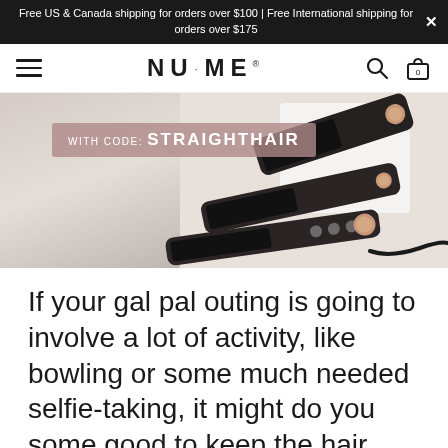Free US & Canada shipping for orders over $100 | Free International shipping for orders over $175
[Figure (logo): NuMe brand logo navigation bar with hamburger menu, search icon, and bag icon]
[Figure (photo): NuMe hair straighteners/flat irons in matte black with rose gold accents, multiple sizes shown, with promotional code badge reading WITH CODE: STRAIGHTHAIR]
If your gal pal outing is going to involve a lot of activity, like bowling or some much needed selfie-taking, it might do you some good to keep the hair sassy, but out of your face. Adding two dutch braids is a great way to accent an everyday plain ole' ponytail. In this